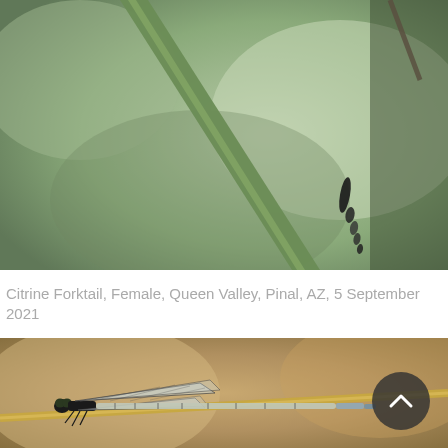[Figure (photo): Close-up photo of a Citrine Forktail damselfly (female) perched on a green reed/grass stem, with blurred green bokeh background. The dark-tipped abdomen segments of the damselfly are visible near the blade of grass.]
Citrine Forktail, Female, Queen Valley, Pinal, AZ, 5 September 2021
[Figure (photo): Photo of a Citrine Forktail damselfly (female) perched laterally on a thin golden straw/plant stem, with blurred warm brown and tan bokeh background. The damselfly shows transparent wings with dark veining and a pale blue-tipped abdomen.]